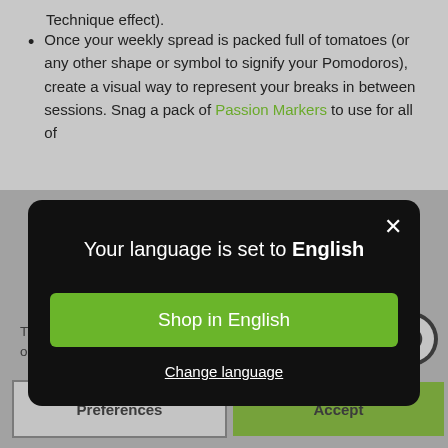Technique effect).
Once your weekly spread is packed full of tomatoes (or any other shape or symbol to signify your Pomodoros), create a visual way to represent your breaks in between sessions. Snag a pack of Passion Markers to use for all of
[Figure (screenshot): Modal dialog box with dark background showing 'Your language is set to English' with a green 'Shop in English' button and 'Change language' link, plus a close (X) button in the top right corner.]
This website uses cookies to ensure you get the best experience on our website. Privacy Policy
At the end of each week, count the number of Pomodoros you completed, do a happy dance, and note down your accomplishments in the Good Things That
Preferences | Accept